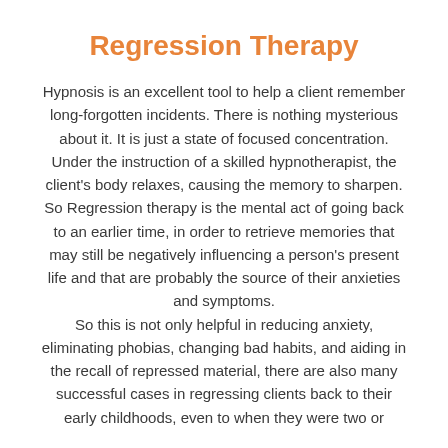Regression Therapy
Hypnosis is an excellent tool to help a client remember long-forgotten incidents. There is nothing mysterious about it. It is just a state of focused concentration. Under the instruction of a skilled hypnotherapist, the client’s body relaxes, causing the memory to sharpen.
So Regression therapy is the mental act of going back to an earlier time, in order to retrieve memories that may still be negatively influencing a person’s present life and that are probably the source of their anxieties and symptoms.
So this is not only helpful in reducing anxiety, eliminating phobias, changing bad habits, and aiding in the recall of repressed material, there are also many successful cases in regressing clients back to their early childhoods, even to when they were two or